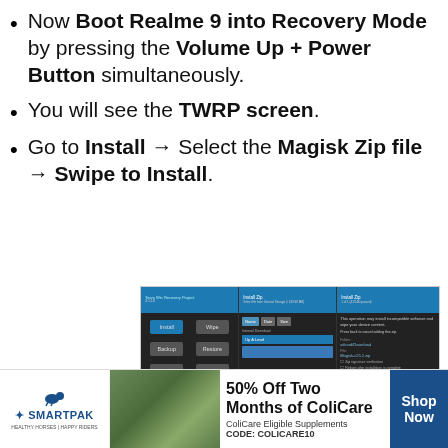Now Boot Realme 9 into Recovery Mode by pressing the Volume Up + Power Button simultaneously.
You will see the TWRP screen.
Go to Install → Select the Magisk Zip file → Swipe to Install.
[Figure (screenshot): Three TWRP (Team Win Recovery Project) screens: main menu with Install/Wipe/Backup/Restore/Mount/Settings/Advanced/Reboot buttons; file browser for selecting Magisk zip; and install confirmation screen with Add more Zips and Clear Zip Queue buttons.]
[Figure (infographic): SmartPak advertisement banner: 50% Off Two Months of ColiCare, ColiCare Eligible Supplements, CODE: COLICARE10. Shows SmartPak logo, horse supplement product image, horse and rider photo, and Shop Now button.]